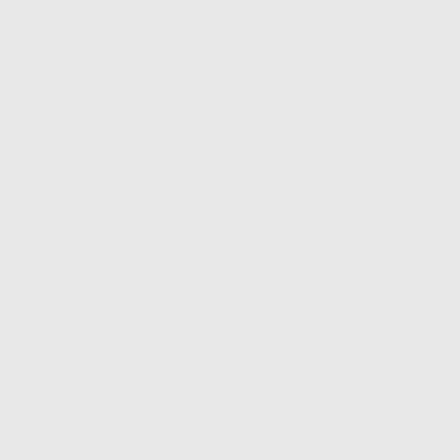What was the power that had her in its spell? O'Donnell's steel-nerved persistence could trace such a trance.
Here are more case histories by the fearless author of the bestselling "CASEBOOK OF GHOSTS", Volume II. This volume includes true tales of headless sailors, disappearing ships, haunted elevators and much, much more.
Thanks to Steve Goodwin for providing the sca...
Posted in Elliott O'Donnell, Folklore, NEL | Ta... O'Donnell, Jan Parker, NEL, New English Lib... steve goodwin, True Ghost Stories, Vault Of... Comment »
Elliott O'Donnell – The Scre... Skulls
Posted by demonik on May 17, 2009
Elliott O'Donnell – The Screaming Skulls & C... Stories (Four Square Horror, September, 1966... Ludlam]
[Figure (illustration): Book cover image thumbnail, tan/yellow background with small dark book icon]